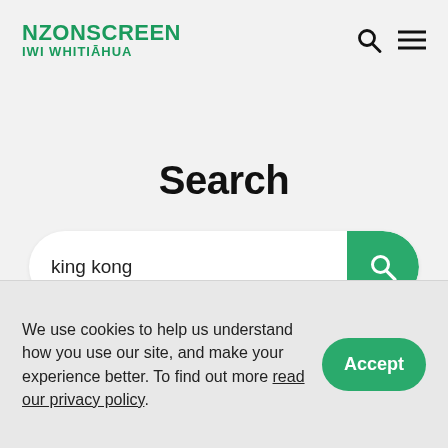NZONSCREEN IWI WHITIĀHUA
Search
king kong
We use cookies to help us understand how you use our site, and make your experience better. To find out more read our privacy policy.